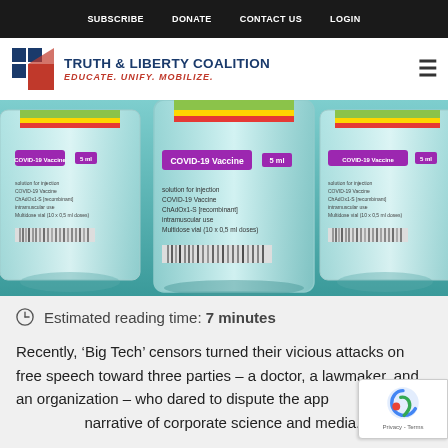SUBSCRIBE   DONATE   CONTACT US   LOGIN
[Figure (logo): Truth & Liberty Coalition logo with tagline EDUCATE. UNIFY. MOBILIZE.]
[Figure (photo): COVID-19 Vaccine vials with labels showing 5ml, solution for injection, multidose vial (10x0.5ml doses)]
Estimated reading time: 7 minutes
Recently, ‘Big Tech’ censors turned their vicious attacks on free speech toward three parties – a doctor, a lawmaker, and an organization – who dared to dispute the app... narrative of corporate science and media.